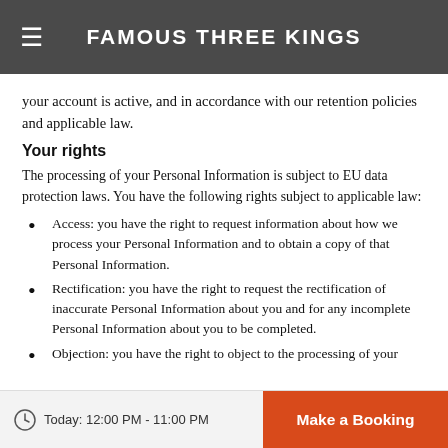FAMOUS THREE KINGS
your account is active, and in accordance with our retention policies and applicable law.
Your rights
The processing of your Personal Information is subject to EU data protection laws. You have the following rights subject to applicable law:
Access: you have the right to request information about how we process your Personal Information and to obtain a copy of that Personal Information.
Rectification: you have the right to request the rectification of inaccurate Personal Information about you and for any incomplete Personal Information about you to be completed.
Objection: you have the right to object to the processing of your
Today: 12:00 PM - 11:00 PM   Make a Booking